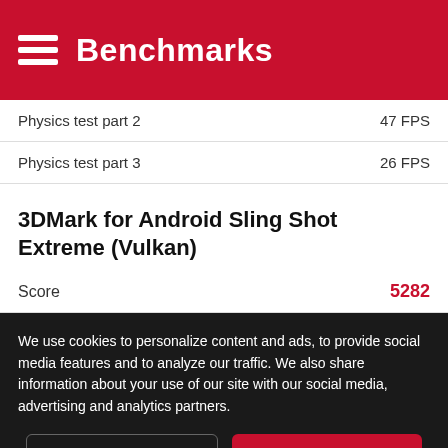Benchmarks
| Test | Score |
| --- | --- |
| Physics test part 2 | 47 FPS |
| Physics test part 3 | 26 FPS |
3DMark for Android Sling Shot Extreme (Vulkan)
| Metric | Value |
| --- | --- |
| Score | 5282 |
We use cookies to personalize content and ads, to provide social media features and to analyze our traffic. We also share information about your use of our site with our social media, advertising and analytics partners.